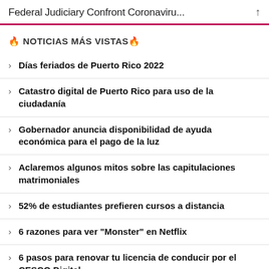Federal Judiciary Confront Coronaviru...
🔥 NOTICIAS MÁS VISTAS 🔥
Días feriados de Puerto Rico 2022
Catastro digital de Puerto Rico para uso de la ciudadanía
Gobernador anuncia disponibilidad de ayuda económica para el pago de la luz
Aclaremos algunos mitos sobre las capitulaciones matrimoniales
52% de estudiantes prefieren cursos a distancia
6 razones para ver "Monster" en Netflix
6 pasos para renovar tu licencia de conducir por el CESCO Digital